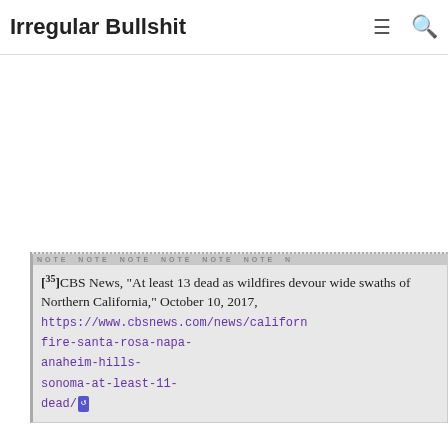Irregular Bullshit
[34] fires jumps to at least 5,700 structures destroyed, Los Angeles Times, October 13, 2017, http://www.latimes.com/local/lanow/la-me-ln-fires-20171013-story.html
[35] CBS News, "At least 13 dead as wildfires devour wide swaths of Northern California," October 10, 2017, https://www.cbsnews.com/news/california-fire-santa-rosa-napa-anaheim-hills-sonoma-at-least-11-dead/
[36] Paige St. John et al., "At least 10 dead, 1,500 structures lost in Northern California firestorm, among worst in state's history," Los Angeles Times, October 9, 2017